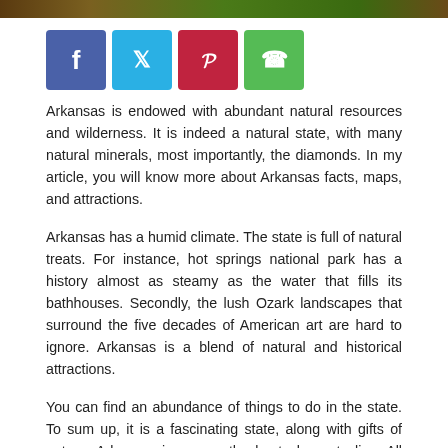[Figure (other): Top decorative image bar (nature/forest scene, cropped)]
[Figure (other): Social sharing buttons: Facebook (blue), Twitter (light blue), Pinterest (red), WhatsApp (green)]
Arkansas is endowed with abundant natural resources and wilderness. It is indeed a natural state, with many natural minerals, most importantly, the diamonds. In my article, you will know more about Arkansas facts, maps, and attractions.
Arkansas has a humid climate. The state is full of natural treats. For instance, hot springs national park has a history almost as steamy as the water that fills its bathhouses. Secondly, the lush Ozark landscapes that surround the five decades of American art are hard to ignore. Arkansas is a blend of natural and historical attractions.
You can find an abundance of things to do in the state. To sum up, it is a fascinating state, along with gifts of nature. Arkansas is among the best places to live. All types of crops grow here except citrus fruit. Most surprisingly, the state has fifteen meteorites discovered till now. Keep reading to know more about Arkansas